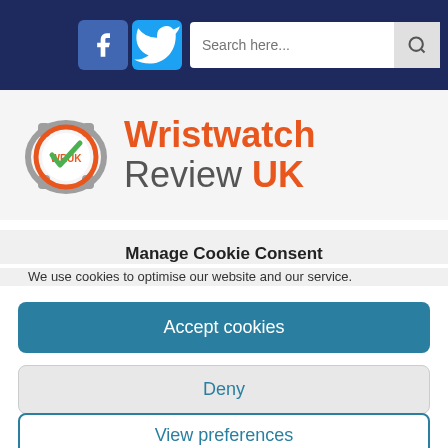[Figure (screenshot): Navigation bar with Facebook icon, Twitter icon, and search box on dark navy background]
[Figure (logo): Wristwatch Review UK logo: stopwatch icon with WRUK text and orange checkmark, followed by text 'Wristwatch Review UK']
Manage Cookie Consent
We use cookies to optimise our website and our service.
Accept cookies
Deny
View preferences